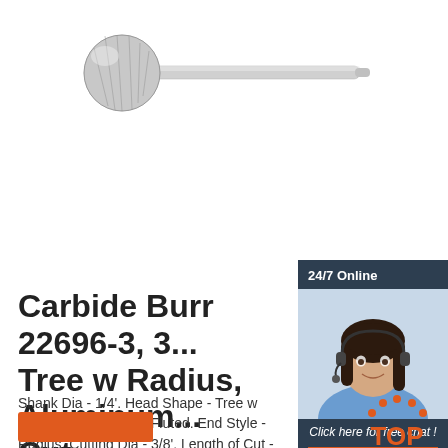[Figure (photo): Carbide burr tool with spherical cutting head and long shank, silver/metallic color]
[Figure (infographic): 24/7 Online chat widget showing a female customer service agent with headset, a 'Click here for free chat!' text, and an orange QUOTATION button]
Carbide Burr 22696-3, 3... Tree w Radius, Aluminum... Cut
Shank Dia - 1/4'. Head Shape - Tree w Radius. Tooth Style - Fluted. End Style - Radius. Cutting Dia - 3/8'. Length of Cut - 3/4'.
[Figure (logo): Orange TOP badge with dotted arc above text]